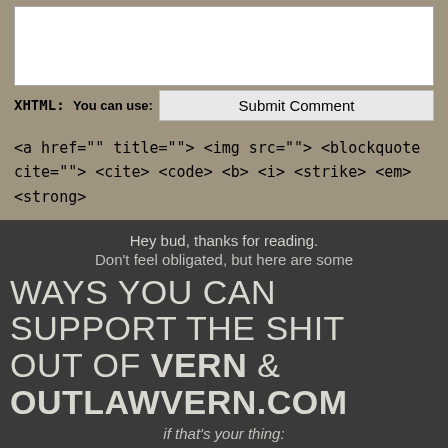[textarea comment box]
XHTML: You can use:
Submit Comment
<a href="" title=""> <img src=""> <blockquote cite=""> <cite> <code> <b> <i> <strike> <em> <strong>
Hey bud, thanks for reading.
Don't feel obligated, but here are some
WAYS YOU CAN SUPPORT THE SHIT OUT OF VERN & OUTLAWVERN.COM
if that's your thing:
1. Patreon
[Figure (illustration): Patreon Exclusives promotional image styled as a vintage card, with black top bar showing PATREON EXCLUSIVES! and tan/beige background showing 'the twilight saga' text below.]